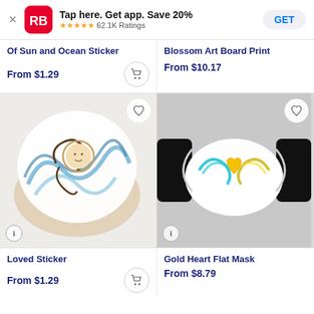Tap here. Get app. Save 20% ★★★★★ 62.1K Ratings GET
Of Sun and Ocean Sticker
Blossom Art Board Print
From $1.29
From $10.17
[Figure (photo): Sticker showing a whimsical watercolor illustration of a figure surrounded by swirling blue ocean waves on a sandy/cream background, in a blob/cloud shape.]
[Figure (photo): A flat face mask with black side panels and a white center featuring a colorful illustration of a golden heart with teal and yellow wing-like swirls.]
Loved Sticker
Gold Heart Flat Mask
From $1.29
From $8.79